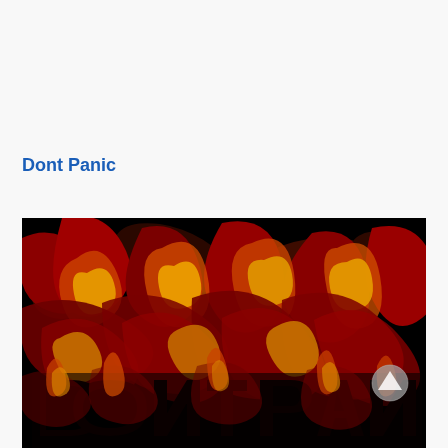Dont Panic
[Figure (illustration): Psychedelic swirling flame art with 'DONT PANIC' text rendered in fiery red, orange, yellow and black liquid-like swirls on a black background. A circular up-arrow scroll button is visible in the lower right area of the image.]